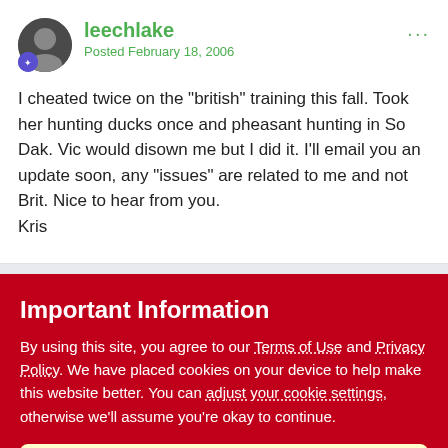leechlake
Posted February 18, 2006
I cheated twice on the "british" training this fall. Took her hunting ducks once and pheasant hunting in So Dak. Vic would disown me but I did it. I'll email you an update soon, any "issues" are related to me and not Brit. Nice to hear from you.
Kris
Important Information
By using this site, you agree to our Terms of Use and Privacy Policy. We have placed cookies on your device to help make this website better. You can adjust your cookie settings, otherwise we'll assume you're okay to continue.
✔  I accept